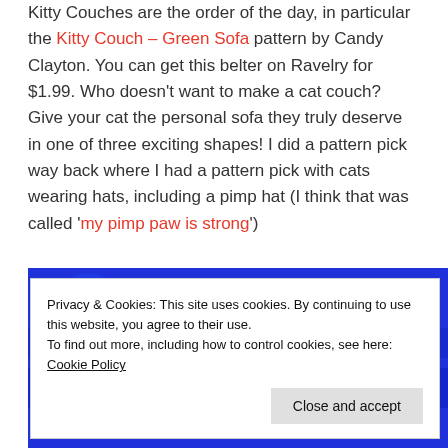Kitty Couches are the order of the day, in particular the Kitty Couch – Green Sofa pattern by Candy Clayton. You can get this belter on Ravelry for $1.99. Who doesn't want to make a cat couch? Give your cat the personal sofa they truly deserve in one of three exciting shapes! I did a pattern pick way back where I had a pattern pick with cats wearing hats, including a pimp hat (I think that was called 'my pimp paw is strong')
[Figure (photo): Photo of blue knitted fabric with a white cookie consent overlay dialog]
Privacy & Cookies: This site uses cookies. By continuing to use this website, you agree to their use. To find out more, including how to control cookies, see here: Cookie Policy